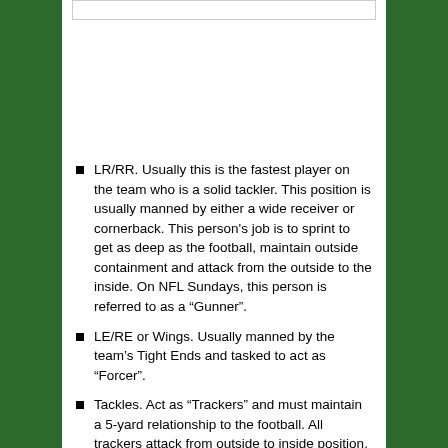LR/RR. Usually this is the fastest player on the team who is a solid tackler. This position is usually manned by either a wide receiver or cornerback. This person's job is to sprint to get as deep as the football, maintain outside containment and attack from the outside to the inside. On NFL Sundays, this person is referred to as a “Gunner”.
LE/RE or Wings. Usually manned by the team’s Tight Ends and tasked to act as “Forcer”.
Tackles. Act as “Trackers” and must maintain a 5-yard relationship to the football. All trackers attack from outside to inside position.
Guards. Act as “Trackers” and must maintain a 10-yard relationship to the football. All trackers attack